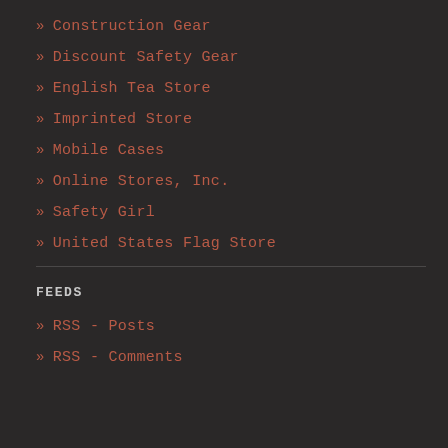» Construction Gear
» Discount Safety Gear
» English Tea Store
» Imprinted Store
» Mobile Cases
» Online Stores, Inc.
» Safety Girl
» United States Flag Store
FEEDS
» RSS - Posts
» RSS - Comments